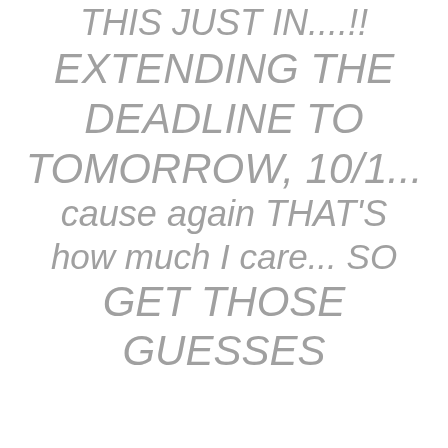THIS JUST IN....!! EXTENDING THE DEADLINE TO TOMORROW, 10/1... cause again THAT'S how much I care... SO GET THOSE GUESSES